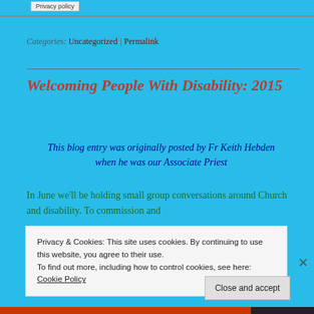Privacy policy
Categories: Uncategorized | Permalink
Welcoming People With Disability: 2015
This blog entry was originally posted by Fr Keith Hebden when he was our Associate Priest
In June we'll be holding small group conversations around Church and disability. To commission and
Privacy & Cookies: This site uses cookies. By continuing to use this website, you agree to their use.
To find out more, including how to control cookies, see here:
Cookie Policy
Close and accept